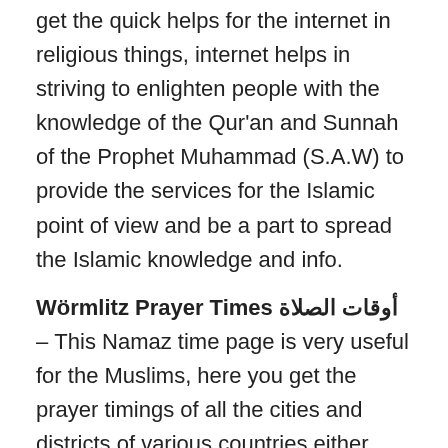get the quick helps for the internet in religious things, internet helps in striving to enlighten people with the knowledge of the Qur'an and Sunnah of the Prophet Muhammad (S.A.W) to provide the services for the Islamic point of view and be a part to spread the Islamic knowledge and info.
Wörmlitz Prayer Times أوقات الصلاة – This Namaz time page is very useful for the Muslims, here you get the prayer timings of all the cities and districts of various countries either Muslim or Non-Muslim to get the all five times prayers according to the current schedule of Salah time in your location. This page provides the Wörmlitz Namaz Time with Sunrise to give the quick services for the citizens of Wörmlitz with the help of it they can offer Salah